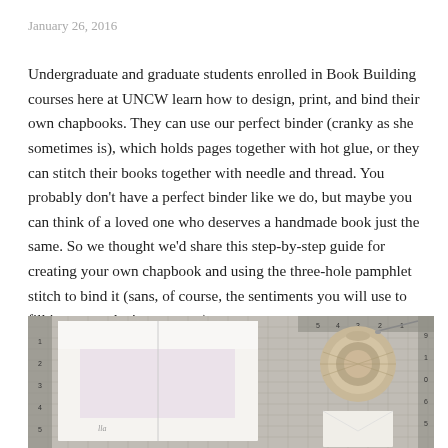January 26, 2016
Undergraduate and graduate students enrolled in Book Building courses here at UNCW learn how to design, print, and bind their own chapbooks. They can use our perfect binder (cranky as she sometimes is), which holds pages together with hot glue, or they can stitch their books together with needle and thread. You probably don’t have a perfect binder like we do, but maybe you can think of a loved one who deserves a handmade book just the same. So we thought we’d share this step-by-step guide for creating your own chapbook and using the three-hole pamphlet stitch to bind it (sans, of course, the sentiments you will use to fill its pages–that’s up to you).
[Figure (photo): A photo of bookbinding materials on a gridded cutting mat: white paper folded into a chapbook on the left, and a spool of natural twine/thread on the upper right, with a needle visible. The mat has measurement markings.]